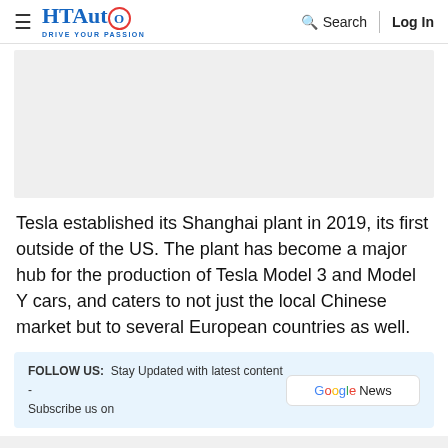HT Auto — Drive Your Passion | Search | Log In
[Figure (photo): Image placeholder / advertisement area, light grey background]
Tesla established its Shanghai plant in 2019, its first outside of the US. The plant has become a major hub for the production of Tesla Model 3 and Model Y cars, and caters to not just the local Chinese market but to several European countries as well.
FOLLOW US: Stay Updated with latest content - Subscribe us on Google News